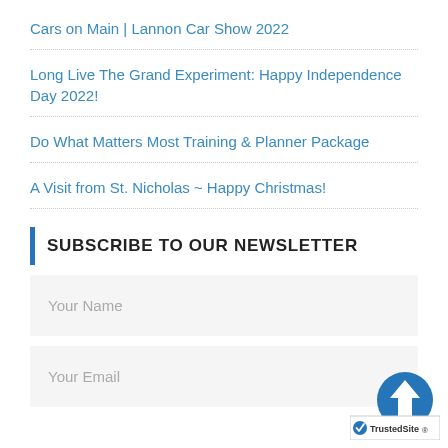Cars on Main | Lannon Car Show 2022
Long Live The Grand Experiment: Happy Independence Day 2022!
Do What Matters Most Training & Planner Package
A Visit from St. Nicholas ~ Happy Christmas!
SUBSCRIBE TO OUR NEWSLETTER
Your Name
Your Email
[Figure (logo): TrustedSite badge with blue circle and upward arrow icon, white checkmark and 'TrustedSite' text below]